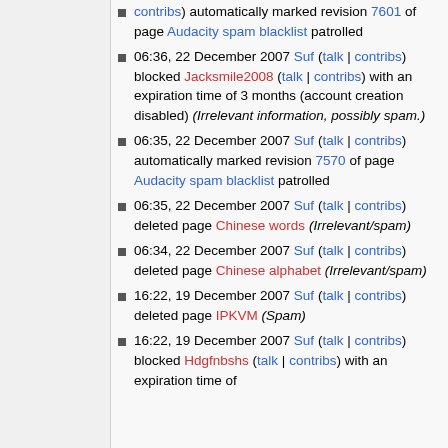contribs) automatically marked revision 7601 of page Audacity spam blacklist patrolled
06:36, 22 December 2007 Suf (talk | contribs) blocked Jacksmile2008 (talk | contribs) with an expiration time of 3 months (account creation disabled) (Irrelevant information, possibly spam.)
06:35, 22 December 2007 Suf (talk | contribs) automatically marked revision 7570 of page Audacity spam blacklist patrolled
06:35, 22 December 2007 Suf (talk | contribs) deleted page Chinese words (Irrelevant/spam)
06:34, 22 December 2007 Suf (talk | contribs) deleted page Chinese alphabet (Irrelevant/spam)
16:22, 19 December 2007 Suf (talk | contribs) deleted page IPKVM (Spam)
16:22, 19 December 2007 Suf (talk | contribs) blocked Hdgfnbshs (talk | contribs) with an expiration time of